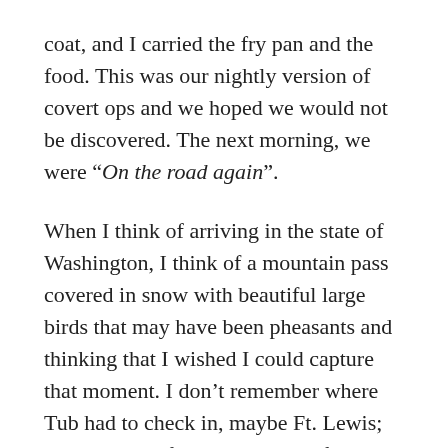coat, and I carried the fry pan and the food. This was our nightly version of covert ops and we hoped we would not be discovered. The next morning, we were “On the road again”.
When I think of arriving in the state of Washington, I think of a mountain pass covered in snow with beautiful large birds that may have been pheasants and thinking that I wished I could capture that moment. I don’t remember where Tub had to check in, maybe Ft. Lewis; the logistics of the second leg of our journey were in his purview not mine.  I became more engaged in the process when his paperwork stated that since Alaska, at that time, was considered an overseas assignment, his dependent